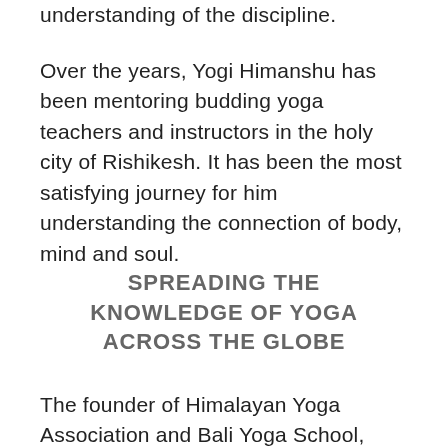understanding of the discipline.
Over the years, Yogi Himanshu has been mentoring budding yoga teachers and instructors in the holy city of Rishikesh. It has been the most satisfying journey for him understanding the connection of body, mind and soul.
SPREADING THE KNOWLEDGE OF YOGA ACROSS THE GLOBE
The founder of Himalayan Yoga Association and Bali Yoga School,